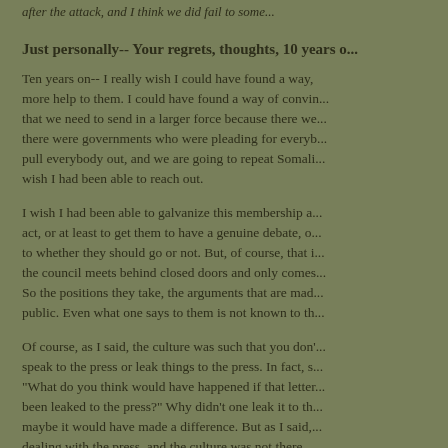after the attack, and I think we did fail to some...
Just personally-- Your regrets, thoughts, 10 years o...
Ten years on-- I really wish I could have found a way, more help to them. I could have found a way of convinc... that we need to send in a larger force because there we... there were governments who were pleading for everyb... pull everybody out, and we are going to repeat Somali... wish I had been able to reach out.
I wish I had been able to galvanize this membership a... act, or at least to get them to have a genuine debate, o... to whether they should go or not. But, of course, that i... the council meets behind closed doors and only comes... So the positions they take, the arguments that are mad... public. Even what one says to them is not known to th...
Of course, as I said, the culture was such that you don'... speak to the press or leak things to the press. In fact, s... "What do you think would have happened if that letter... been leaked to the press?" Why didn't one leak it to th... maybe it would have made a difference. But as I said,... dealing with the press, and the culture was not there.